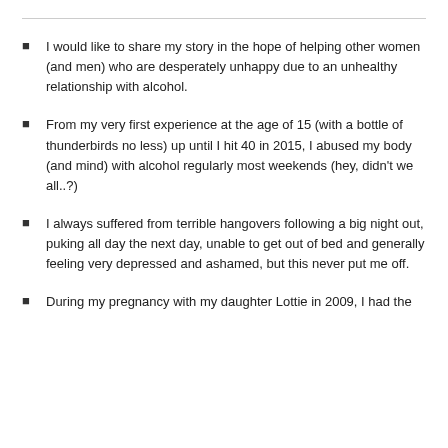I would like to share my story in the hope of helping other women (and men) who are desperately unhappy due to an unhealthy relationship with alcohol.
From my very first experience at the age of 15 (with a bottle of thunderbirds no less) up until I hit 40 in 2015, I abused my body (and mind) with alcohol regularly most weekends (hey, didn't we all..?)
I always suffered from terrible hangovers following a big night out, puking all day the next day, unable to get out of bed and generally feeling very depressed and ashamed, but this never put me off.
During my pregnancy with my daughter Lottie in 2009, I had the